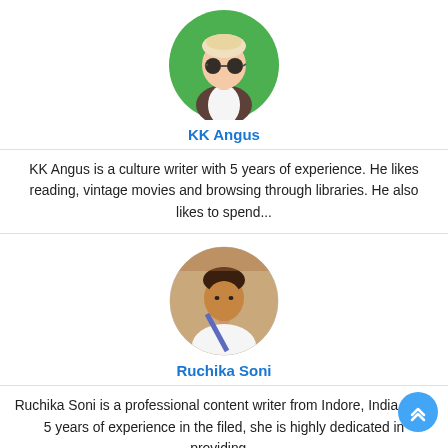[Figure (illustration): Circular avatar of KK Angus on green background, illustrated character with white/blonde hair, sunglasses, vest]
KK Angus
KK Angus is a culture writer with 5 years of experience. He likes reading, vintage movies and browsing through libraries. He also likes to spend...
[Figure (photo): Circular photo of Ruchika Soni, a woman wearing a white outfit with a blue bag strap, in front of a building]
Ruchika Soni
Ruchika Soni is a professional content writer from Indore, India. With 5 years of experience in the filed, she is highly dedicated in providing...
[Figure (photo): Circular photo of a young man in a suit jacket, partial view cut at bottom of page]